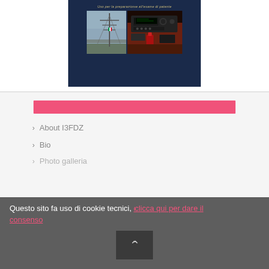[Figure (photo): Book cover with dark blue background showing two photos: a radio antenna tower on the left and a radio equipment/transceiver setup on the right. Italian text reads 'Uso per la preparazione all'esame di patente'.]
[Figure (infographic): Pink horizontal bar used as a sidebar or search widget placeholder in a navigation menu.]
About I3FDZ
Bio
Photo galleria
Questo sito fa uso di cookie tecnici, clicca qui per dare il consenso